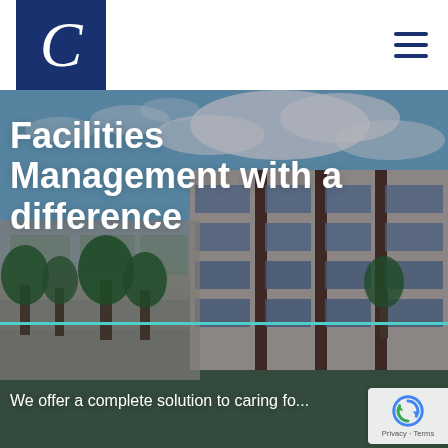[Figure (logo): Letter C in white serif italic font on dark navy blue square background]
[Figure (other): Hamburger menu icon with three dark navy horizontal lines]
[Figure (photo): Hero image of a modern commercial building facade with glass windows and beige/brown cladding, blue sky with clouds in background, green trees in foreground]
Facilities Management with a difference
We offer a complete solution to caring fo...